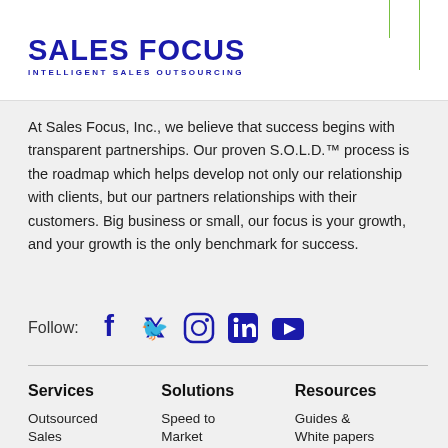[Figure (logo): Sales Focus logo with green bracket accent lines. Text: SALES FOCUS in bold dark blue. Subtitle: INTELLIGENT SALES OUTSOURCING in dark blue small caps.]
At Sales Focus, Inc., we believe that success begins with transparent partnerships. Our proven S.O.L.D.™ process is the roadmap which helps develop not only our relationship with clients, but our partners relationships with their customers. Big business or small, our focus is your growth, and your growth is the only benchmark for success.
Follow:
Services
Solutions
Resources
Outsourced Sales
Speed to Market
Guides & White papers